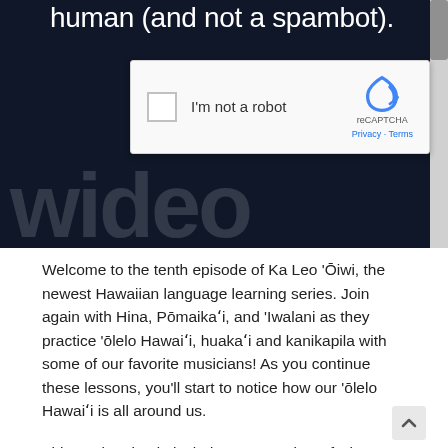human (and not a spambot).
[Figure (screenshot): reCAPTCHA widget with checkbox labeled 'I'm not a robot' and reCAPTCHA logo with Privacy and Terms links]
Welcome to the tenth episode of Ka Leo 'Ōiwi, the newest Hawaiian language learning series. Join again with Hina, Pōmaikaʻi, and 'Iwalani as they practice 'ōlelo Hawaiʻi, huakaʻi and kanikapila with some of our favorite musicians! As you continue these lessons, you'll start to notice how our 'ōlelo Hawaiʻi is all around us.
This tenth episode includes an overview of what was learned in our previous episodes as well as an introduction of the Pepeke 'Aike 'O, which is simlar to